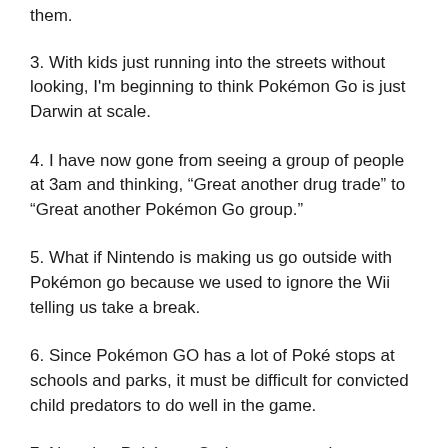them.
3. With kids just running into the streets without looking, I'm beginning to think Pokémon Go is just Darwin at scale.
4. I have now gone from seeing a group of people at 3am and thinking, “Great another drug trade” to “Great another Pokémon Go group.”
5. What if Nintendo is making us go outside with Pokémon go because we used to ignore the Wii telling us take a break.
6. Since Pokémon GO has a lot of Poké stops at schools and parks, it must be difficult for convicted child predators to do well in the game.
7. Now that Pokémon Go is out, somewhere out there